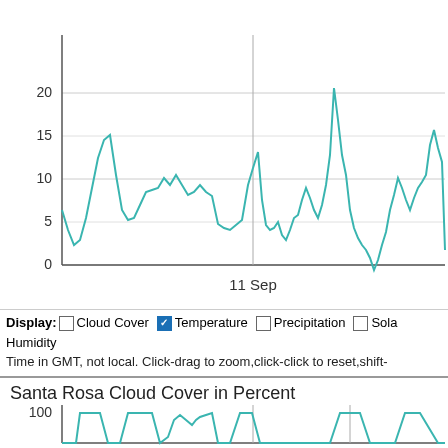Santa Rosa Temperature in Celsius
[Figure (continuous-plot): Line chart of Santa Rosa temperature in Celsius over time. Y-axis: 0 to ~22°C, labeled at 0, 5, 10, 15, 20. X-axis shows '11 Sep' label at center. Teal/cyan line shows oscillating daily temperature pattern ranging from about 4°C to 21°C with peaks and troughs. A vertical gray reference line at 11 Sep.]
Display: ☐ Cloud Cover ☑ Temperature ☐ Precipitation ☐ Sola Humidity
Time in GMT, not local. Click-drag to zoom,click-click to reset,shift-
Santa Rosa Cloud Cover in Percent
[Figure (continuous-plot): Partial line chart of Santa Rosa Cloud Cover in Percent. Y-axis label shows 100. Teal/cyan stepped line visible near bottom of visible area.]